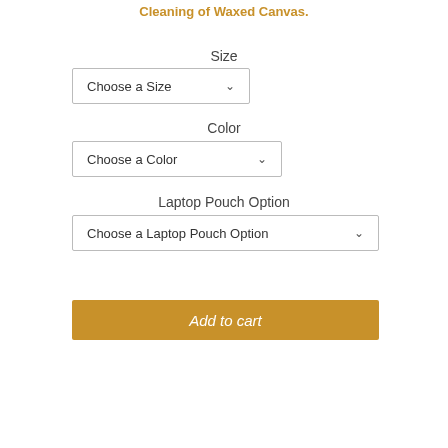Cleaning of Waxed Canvas.
Size
[Figure (screenshot): Dropdown selector labeled 'Choose a Size' with chevron arrow]
Color
[Figure (screenshot): Dropdown selector labeled 'Choose a Color' with chevron arrow]
Laptop Pouch Option
[Figure (screenshot): Dropdown selector labeled 'Choose a Laptop Pouch Option' with chevron arrow]
[Figure (screenshot): Button labeled 'Add to cart' with golden/amber background]